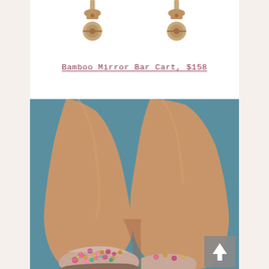[Figure (photo): Two brass castor wheels photographed from above on a white background, partial view of a bar cart]
Bamboo Mirror Bar Cart, $158
[Figure (photo): Close-up fashion photo of legs wearing jeweled embellished flat mule sandals with pink, gold, and multi-colored gemstones on a nude/blush suede upper, against a teal/blue background. A back-to-top button appears in the bottom right corner.]